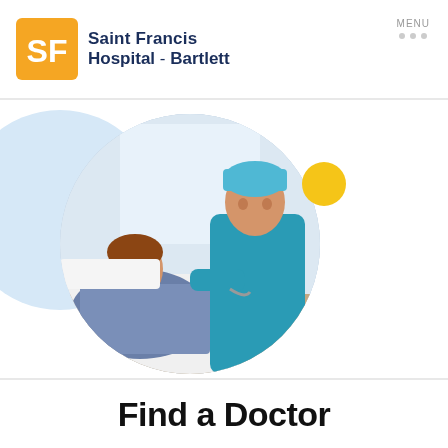[Figure (logo): Saint Francis Hospital - Bartlett logo with orange/yellow SF icon and navy blue text]
MENU
[Figure (photo): Circular photo of a doctor in blue scrubs and surgical cap speaking with a female patient lying in a hospital bed, hospital room with window in background]
Find a Doctor